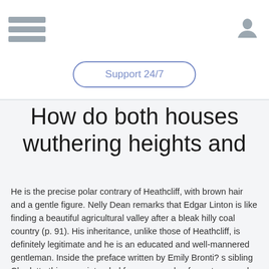hamburger menu | Support 24/7 | user icon
How do both houses wuthering heights and
He is the precise polar contrary of Heathcliff, with brown hair and a gentle figure. Nelly Dean remarks that Edgar Linton is like finding a beautiful agricultural valley after a bleak hilly coal country (p. 91). His inheritance, unlike those of Heathcliff, is definitely legitimate and he is an educated and well-mannered gentleman. Inside the preface written by Emily Bronti? s sibling Charlotte this says, intended for an example of constancy and tenderness remark that of Edgar Linton (p. 17). Isabella Linton is Edgar Lintons sister, and literally resembles him with her blonde curly hair and haughty educated personality.